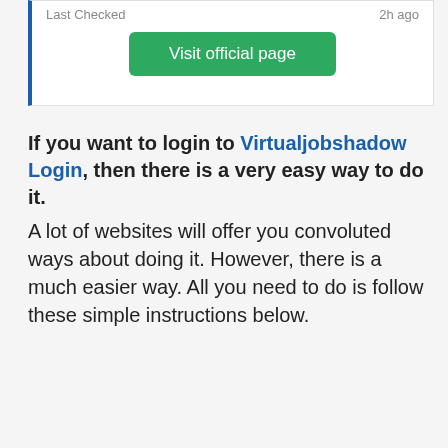Last Checked   2h ago
[Figure (other): Green 'Visit official page' button]
If you want to login to Virtualjobshadow Login, then there is a very easy way to do it.
A lot of websites will offer you convoluted ways about doing it. However, there is a much easier way. All you need to do is follow these simple instructions below.